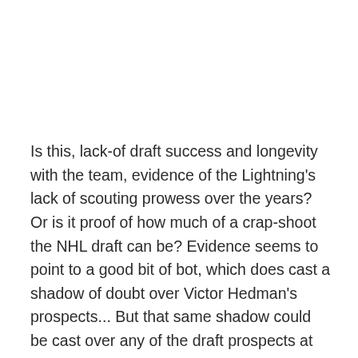Is this, lack-of draft success and longevity with the team, evidence of the Lightning's lack of scouting prowess over the years? Or is it proof of how much of a crap-shoot the NHL draft can be? Evidence seems to point to a good bit of bot, which does cast a shadow of doubt over Victor Hedman's prospects... But that same shadow could be cast over any of the draft prospects at any position (even vaulted John Tavares). The point is, there is no guarantee with anyone in the draft to be all they are made out to be, to live up to expectations and produce at levels expected of them.